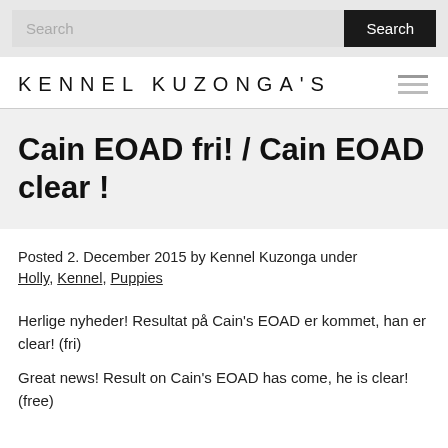Search  Search
KENNEL KUZONGA'S
Cain EOAD fri! / Cain EOAD clear !
Posted 2. December 2015 by Kennel Kuzonga under Holly, Kennel, Puppies
Herlige nyheder! Resultat på Cain's EOAD er kommet, han er clear! (fri)
Great news! Result on Cain's EOAD has come, he is clear! (free)